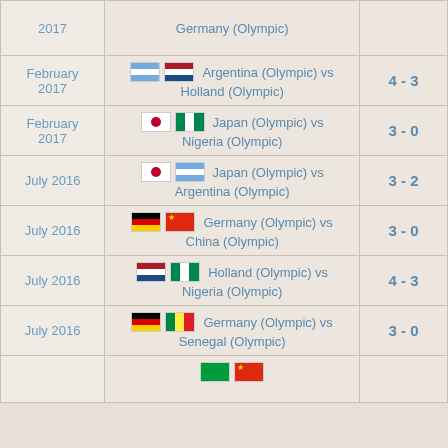| Date | Match | Score |
| --- | --- | --- |
| 2017 | Germany (Olympic) |  |
| February 2017 | Argentina (Olympic) vs Holland (Olympic) | 4 - 3 |
| February 2017 | Japan (Olympic) vs Nigeria (Olympic) | 3 - 0 |
| July 2016 | Japan (Olympic) vs Argentina (Olympic) | 3 - 2 |
| July 2016 | Germany (Olympic) vs China (Olympic) | 3 - 0 |
| July 2016 | Holland (Olympic) vs Nigeria (Olympic) | 4 - 3 |
| July 2016 | Germany (Olympic) vs Senegal (Olympic) | 3 - 0 |
|  | Brazil (Olympic) vs China (Olympic) |  |